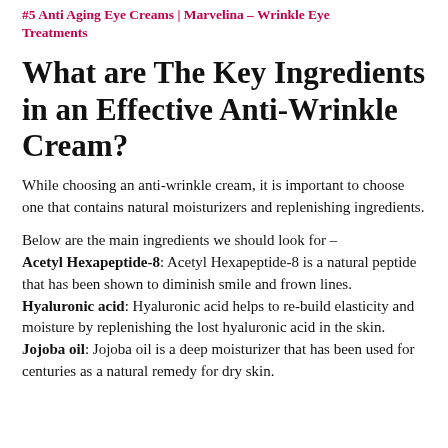#5 Anti Aging Eye Creams | Marvelina – Wrinkle Eye Treatments
What are The Key Ingredients in an Effective Anti-Wrinkle Cream?
While choosing an anti-wrinkle cream, it is important to choose one that contains natural moisturizers and replenishing ingredients.
Below are the main ingredients we should look for – Acetyl Hexapeptide-8: Acetyl Hexapeptide-8 is a natural peptide that has been shown to diminish smile and frown lines. Hyaluronic acid: Hyaluronic acid helps to re-build elasticity and moisture by replenishing the lost hyaluronic acid in the skin. Jojoba oil: Jojoba oil is a deep moisturizer that has been used for centuries as a natural remedy for dry skin.